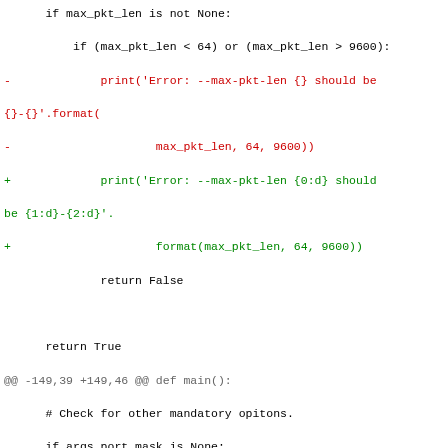Code diff showing changes to packet length error formatting and device ID/UID handling in a Python script.